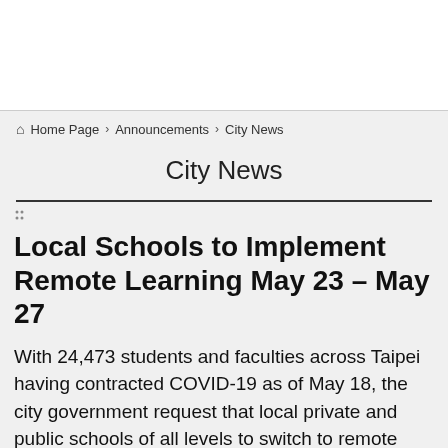🏠 Home Page › Announcements › City News
City News
Local Schools to Implement Remote Learning May 23 – May 27
With 24,473 students and faculties across Taipei having contracted COVID-19 as of May 18, the city government request that local private and public schools of all levels to switch to remote learning between May 23 and 27. The temporary